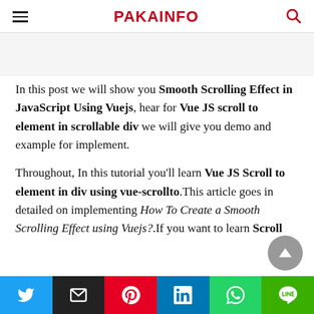PAKAINFO
In this post we will show you Smooth Scrolling Effect in JavaScript Using Vuejs, hear for Vue JS scroll to element in scrollable div we will give you demo and example for implement.
Throughout, In this tutorial you'll learn Vue JS Scroll to element in div using vue-scrollto.This article goes in detailed on implementing How To Create a Smooth Scrolling Effect using Vuejs?.If you want to learn Scroll
Twitter | Email | Pinterest | LinkedIn | WhatsApp | Line